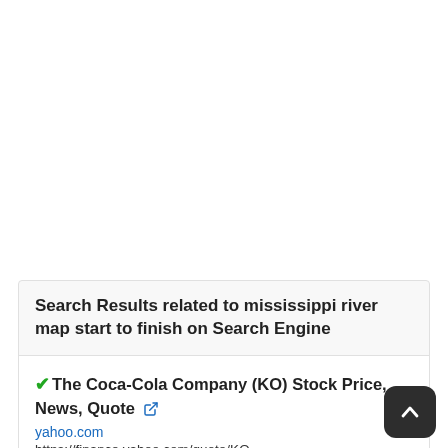Search Results related to mississippi river map start to finish on Search Engine
✓The Coca-Cola Company (KO) Stock Price, News, Quote [external link]
yahoo.com
https://finance.yahoo.com/quote/KO